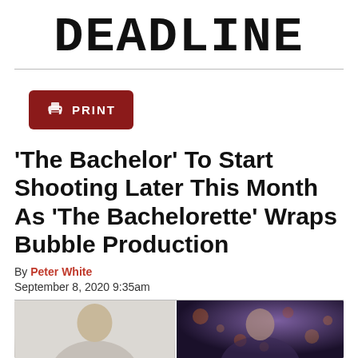DEADLINE
[Figure (other): Red print button with printer icon and PRINT label]
'The Bachelor' To Start Shooting Later This Month As 'The Bachelorette' Wraps Bubble Production
By Peter White
September 8, 2020 9:35am
[Figure (photo): Two side-by-side photos: left showing a person against a light grey background, right showing a person against a dark bokeh background]